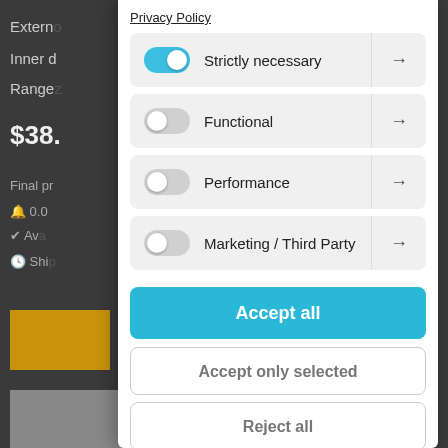Privacy Policy
Strictly necessary →
Functional →
Performance →
Marketing / Third Party →
Accept all
Accept only selected
Reject all